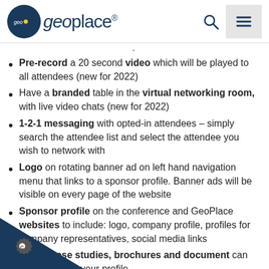GeoPlace logo header with search and menu icons
Pre-record a 20 second video which will be played to all attendees (new for 2022)
Have a branded table in the virtual networking room, with live video chats (new for 2022)
1-2-1 messaging with opted-in attendees – simply search the attendee list and select the attendee you wish to network with
Logo on rotating banner ad on left hand navigation menu that links to a sponsor profile. Banner ads will be visible on every page of the website
Sponsor profile on the conference and GeoPlace websites to include: logo, company profile, profiles for company representatives, social media links
Videos, case studies, brochures and document can be uploaded to your profile
h functionality allows users to search by name or